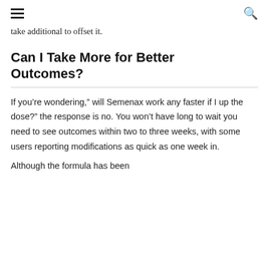☰  🔍
take additional to offset it.
Can I Take More for Better Outcomes?
If you're wondering," will Semenax work any faster if I up the dose?" the response is no. You won't have long to wait you need to see outcomes within two to three weeks, with some users reporting modifications as quick as one week in.
Although the formula has been...